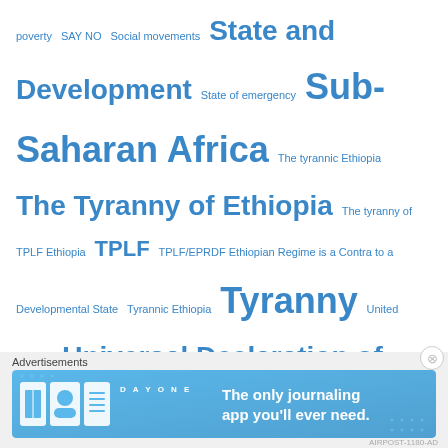poverty SAY NO Social movements State and Development State of emergency Sub-Saharan Africa The tyrannic Ethiopia The Tyranny of Ethiopia The tyranny of TPLF Ethiopia TPLF TPLF/EPRDF Ethiopian Regime is a Contra to a Developmental State Tyrannic Ethiopia Tyranny United Nations Universal Declaration of Human Rights UNPO Women and elders) are dying of genocidal mass killings and politically caused famine World Bank
Social
Advertisements
[Figure (illustration): DAY ONE app advertisement banner with blue gradient background, app icons, and text 'The only journaling app you'll ever need.']